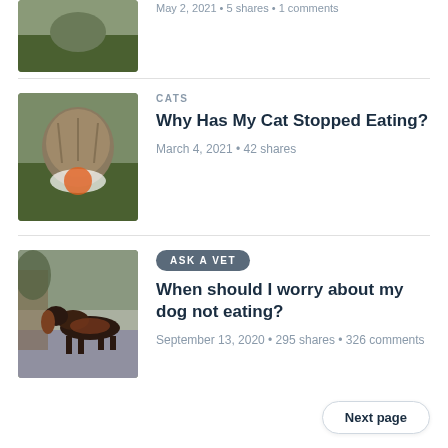May 2, 2021 • 5 shares • 1 comments
CATS
Why Has My Cat Stopped Eating?
March 4, 2021 • 42 shares
ASK A VET
When should I worry about my dog not eating?
September 13, 2020 • 295 shares • 326 comments
Next page